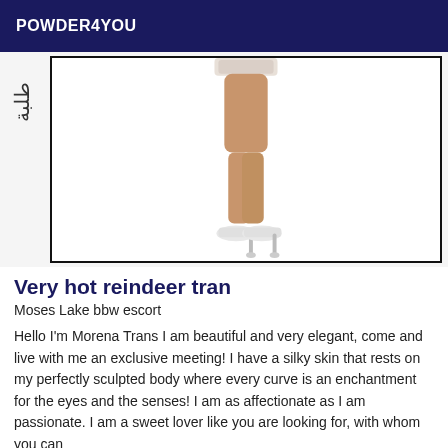POWDER4YOU
[Figure (photo): A photo of a person's legs wearing white high heel shoes, shown against a white background. Rotated text visible on the left side.]
Very hot reindeer tran
Moses Lake bbw escort
Hello I'm Morena Trans I am beautiful and very elegant, come and live with me an exclusive meeting! I have a silky skin that rests on my perfectly sculpted body where every curve is an enchantment for the eyes and the senses! I am as affectionate as I am passionate. I am a sweet lover like you are looking for, with whom you can